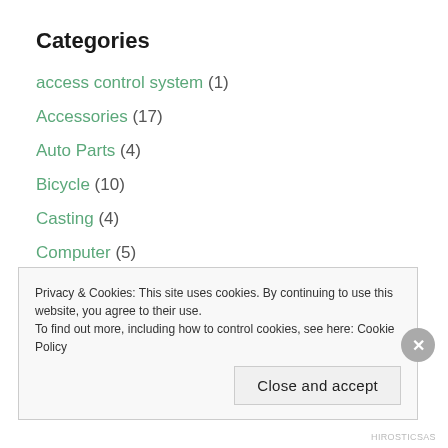Categories
access control system (1)
Accessories (17)
Auto Parts (4)
Bicycle (10)
Casting (4)
Computer (5)
Electric Motor (6)
Electrical Components (17)
Electronics (23)
Exercise Equipment (1)
Privacy & Cookies: This site uses cookies. By continuing to use this website, you agree to their use. To find out more, including how to control cookies, see here: Cookie Policy
Close and accept
HIROSTICSAS